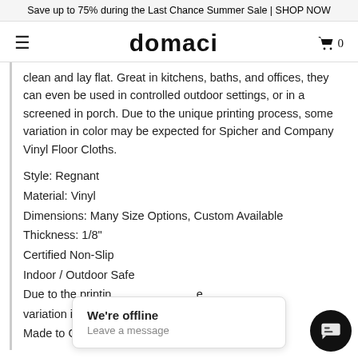Save up to 75% during the Last Chance Summer Sale | SHOP NOW
domaci
clean and lay flat. Great in kitchens, baths, and offices, they can even be used in controlled outdoor settings, or in a screened in porch. Due to the unique printing process, some variation in color may be expected for Spicher and Company Vinyl Floor Cloths.
Style: Regnant
Material: Vinyl
Dimensions: Many Size Options, Custom Available
Thickness: 1/8"
Certified Non-Slip
Indoor / Outdoor Safe
Due to the printing process, some variation in colors...
Made to Order in...